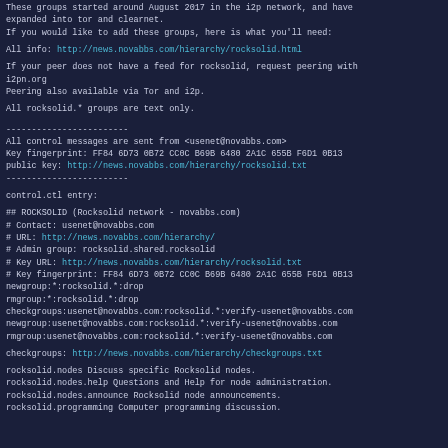These groups started around August 2017 in the i2p network, and have expanded into tor and clearnet.
If you would like to add these groups, here is what you'll need:
All info: http://news.novabbs.com/hierarchy/rocksolid.html
If your peer does not have a feed for rocksolid, request peering with i2pn.org
Peering also available via Tor and i2p.
All rocksolid.* groups are text only.
------------------------
All control messages are sent from <usenet@novabbs.com>
Key fingerprint: FF84 6D73 0B72 CC0C B69B 6480 2A1C 655B F6D1 0B13
public key: http://news.novabbs.com/hierarchy/rocksolid.txt
------------------------
control.ctl entry:
## ROCKSOLID (Rocksolid network - novabbs.com)
# Contact: usenet@novabbs.com
# URL: http://news.novabbs.com/hierarchy/
# Admin group: rocksolid.shared.rocksolid
# Key URL: http://news.novabbs.com/hierarchy/rocksolid.txt
# Key fingerprint: FF84 6D73 0B72 CC0C B69B 6480 2A1C 655B F6D1 0B13
newgroup:*:rocksolid.*:drop
rmgroup:*:rocksolid.*:drop
checkgroups:usenet@novabbs.com:rocksolid.*:verify-usenet@novabbs.com
newgroup:usenet@novabbs.com:rocksolid.*:verify-usenet@novabbs.com
rmgroup:usenet@novabbs.com:rocksolid.*:verify-usenet@novabbs.com
checkgroups: http://news.novabbs.com/hierarchy/checkgroups.txt
rocksolid.nodes Discuss specific Rocksolid nodes.
rocksolid.nodes.help Questions and Help for node administration.
rocksolid.nodes.announce Rocksolid node announcements.
rocksolid.programming Computer programming discussion.